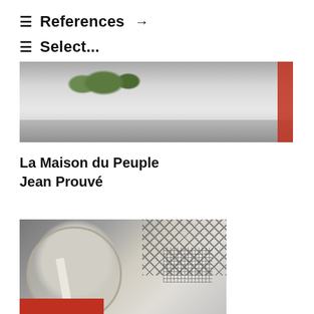≡  References  →
≡  Select...
[Figure (photo): Interior photo showing a wide room with a light gray floor, plants, and a red element on the right edge.]
La Maison du Peuple
Jean Prouvé
[Figure (photo): Interior architectural photo of La Maison du Peuple showing circular structural element, metal truss, mesh panels, white beam, and red accent at bottom left.]